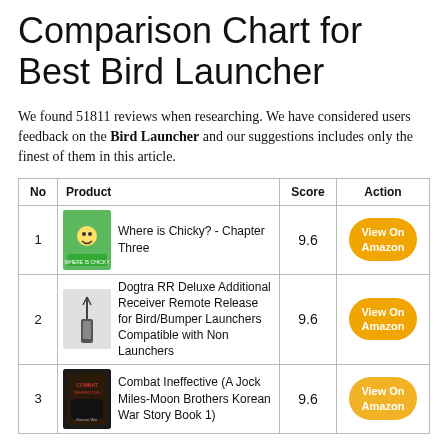Comparison Chart for Best Bird Launcher
We found 51811 reviews when researching. We have considered users feedback on the Bird Launcher and our suggestions includes only the finest of them in this article.
| No | Product | Score | Action |
| --- | --- | --- | --- |
| 1 | Where is Chicky? - Chapter Three | 9.6 | View On Amazon |
| 2 | Dogtra RR Deluxe Additional Receiver Remote Release for Bird/Bumper Launchers Compatible with Non Launchers | 9.6 | View On Amazon |
| 3 | Combat Ineffective (A Jock Miles-Moon Brothers Korean War Story Book 1) | 9.6 | View On Amazon |